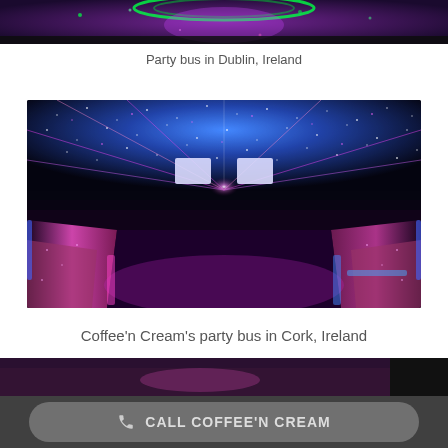[Figure (photo): Top portion of a party bus interior showing green neon lighting and purple tones, partially cropped]
Party bus in Dublin, Ireland
[Figure (photo): Interior of Coffee'n Cream's party bus in Cork, Ireland, showing purple and pink LED lighting with star-effect ceiling, pink leather seating along both sides, and screen displays]
Coffee'n Cream's party bus in Cork, Ireland
[Figure (photo): Partially visible bottom strip showing another party bus image]
CALL COFFEE'N CREAM